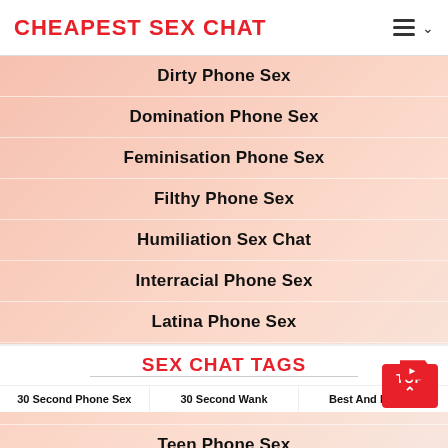CHEAPEST SEX CHAT
Dirty Phone Sex
Domination Phone Sex
Feminisation Phone Sex
Filthy Phone Sex
Humiliation Sex Chat
Interracial Phone Sex
Latina Phone Sex
Mature Phone Sex
Speedy Wank Sex Chat
Teen Phone Sex
Wanking Sex Chat
SEX CHAT TAGS
30 Second Phone Sex
30 Second Wank
Best And Fastest